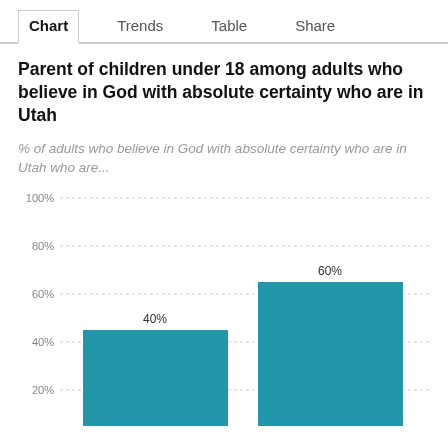Chart  Trends  Table  Share
Parent of children under 18 among adults who believe in God with absolute certainty who are in Utah
% of adults who believe in God with absolute certainty who are in Utah who are...
[Figure (bar-chart): Parent of children under 18 among adults who believe in God with absolute certainty who are in Utah]